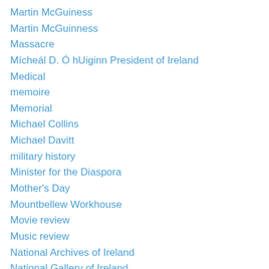Martin McGuiness
Martin McGuinness
Massacre
Mícheál D. Ó hUiginn President of Ireland
Medical
memoire
Memorial
Michael Collins
Michael Davitt
military history
Minister for the Diaspora
Mother's Day
Mountbellew Workhouse
Movie review
Music review
National Archives of Ireland
National Gallery of Ireland
nature
Ned
Ned Kelly